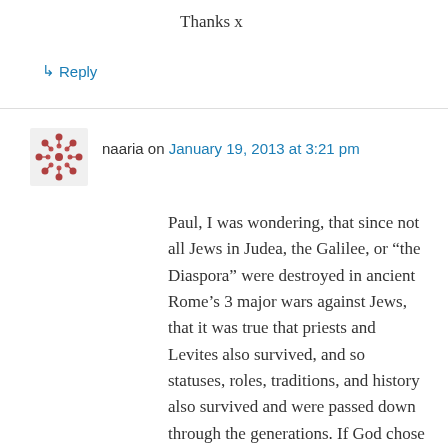Thanks x
↳ Reply
naaria on January 19, 2013 at 3:21 pm
Paul, I was wondering, that since not all Jews in Judea, the Galilee, or “the Diaspora” were destroyed in ancient Rome’s 3 major wars against Jews, that it was true that priests and Levites also survived, and so statuses, roles, traditions, and history also survived and were passed down through the generations. If God chose Rome to do severe damage to Jews, whether they were corrupt or were innocent, those crushed are always restored to their former lands; those “punished” are always